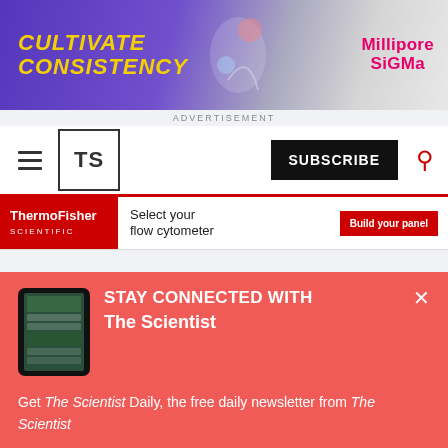[Figure (infographic): Advertisement banner: 'CULTIVATE CONSISTENCY' in yellow italic bold text on purple background, with MilliporeSigma branding on the right]
ADVERTISEMENT
[Figure (logo): The Scientist TS logo in a box, with hamburger menu icon, SUBSCRIBE button, and search icon]
[Figure (infographic): ThermoFisher Scientific advertisement strip: 'Select your flow cytometer' with 'Build your panel' button]
[Figure (infographic): Popup overlay showing tablet image]
STAY CONNECTED WITH The Scientist
Get The Scientist Daily, the free daily newsletter from The Scientist
Sign up for our free newsletter